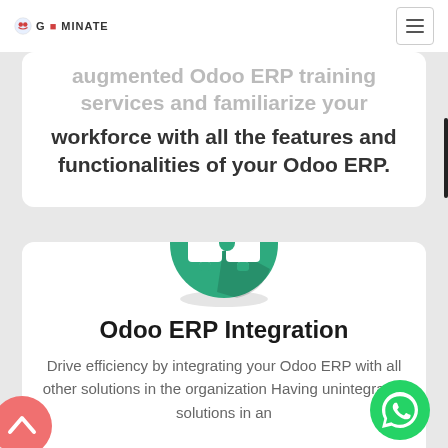GEMINATE [logo] [hamburger menu]
augmented Odoo ERP training services and familiarize your workforce with all the features and functionalities of your Odoo ERP.
[Figure (illustration): Green circular icon with two white interlocking puzzle pieces, casting a shadow. Represents Odoo ERP Integration.]
Odoo ERP Integration
Drive efficiency by integrating your Odoo ERP with all other solutions in the organization Having unintegrated solutions in an
[Figure (illustration): Green circular WhatsApp icon button in bottom right corner.]
[Figure (illustration): Salmon/pink circular back-to-top arrow button in bottom left corner.]